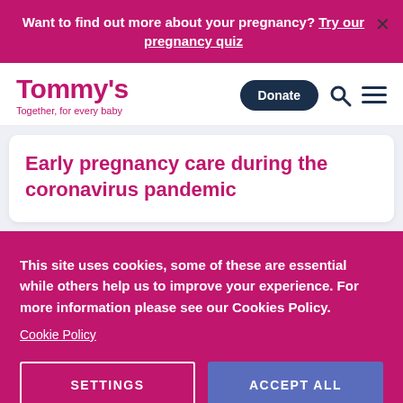Want to find out more about your pregnancy? Try our pregnancy quiz
[Figure (logo): Tommy's logo with tagline 'Together, for every baby']
Early pregnancy care during the coronavirus pandemic
This site uses cookies, some of these are essential while others help us to improve your experience. For more information please see our Cookies Policy.
Cookie Policy
SETTINGS
ACCEPT ALL